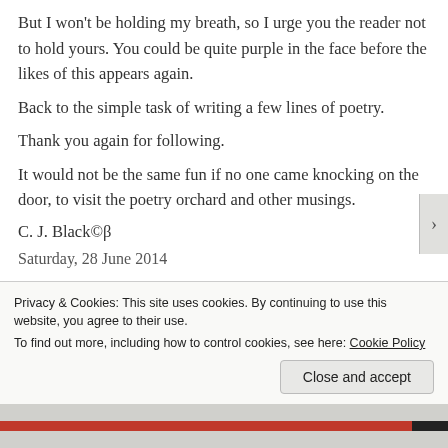But I won't be holding my breath, so I urge you the reader not to hold yours. You could be quite purple in the face before the likes of this appears again.
Back to the simple task of writing a few lines of poetry.
Thank you again for following.
It would not be the same fun if no one came knocking on the door, to visit the poetry orchard and other musings.
C. J. Black©β
Saturday, 28 June 2014
Privacy & Cookies: This site uses cookies. By continuing to use this website, you agree to their use.
To find out more, including how to control cookies, see here: Cookie Policy